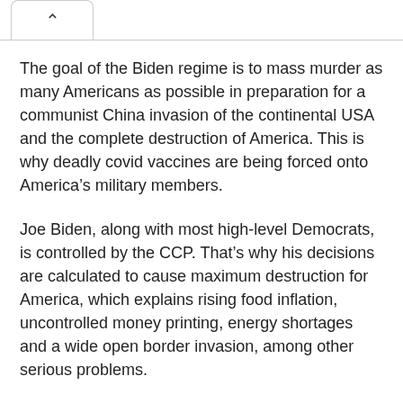The goal of the Biden regime is to mass murder as many Americans as possible in preparation for a communist China invasion of the continental USA and the complete destruction of America. This is why deadly covid vaccines are being forced onto America’s military members.
Joe Biden, along with most high-level Democrats, is controlled by the CCP. That’s why his decisions are calculated to cause maximum destruction for America, which explains rising food inflation, uncontrolled money printing, energy shortages and a wide open border invasion, among other serious problems.